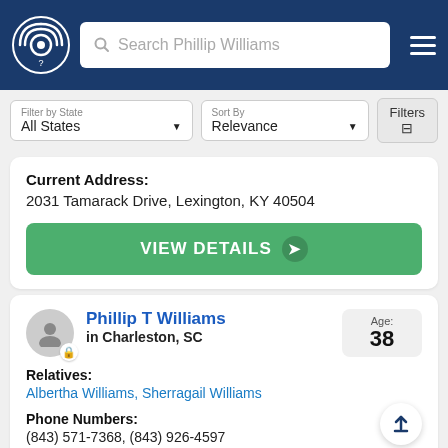Search Phillip Williams
Filter by State: All States | Sort By: Relevance | Filters
Current Address: 2031 Tamarack Drive, Lexington, KY 40504
VIEW DETAILS
Phillip T Williams in Charleston, SC — Age: 38
Relatives: Albertha Williams, Sherragail Williams
Phone Numbers: (843) 571-7368, (843) 926-4597